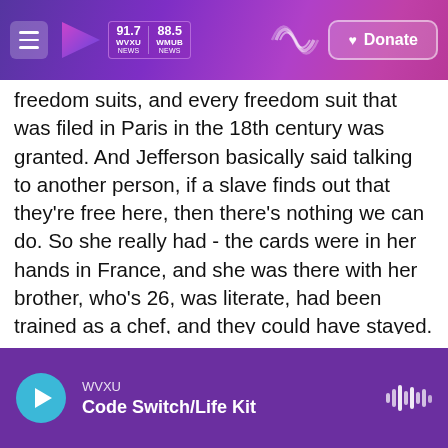91.7 WVXU NEWS | 88.5 WHUB NEWS | Donate
freedom suits, and every freedom suit that was filed in Paris in the 18th century was granted. And Jefferson basically said talking to another person, if a slave finds out that they're free here, then there's nothing we can do. So she really had - the cards were in her hands in France, and she was there with her brother, who's 26, was literate, had been trained as a chef, and they could have stayed. But once she comes back here, you're right. I mean, she's totally under his control.
GROSS: Did her brother stay in France or come back?
WVXU | Code Switch/Life Kit